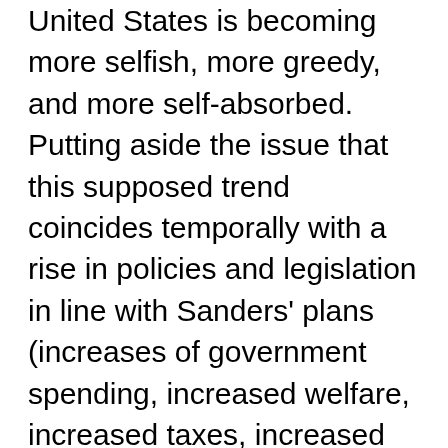United States is becoming more selfish, more greedy, and more self-absorbed. Putting aside the issue that this supposed trend coincides temporally with a rise in policies and legislation in line with Sanders' plans (increases of government spending, increased welfare, increased taxes, increased regulation), I wish to examine this common failing amongst people of all walks of life and political persuasions. That is, a yearning for the Good Old Days and a belief that people from one time period are fundamentally different than those from some preceding time period. The Good Old Days of business owners supposedly caring more for their employees and being more selfless were also the Bad Old Days of lower standards-of-living, racist legislation, and massive warfare. I am not implying causal links between those things, I